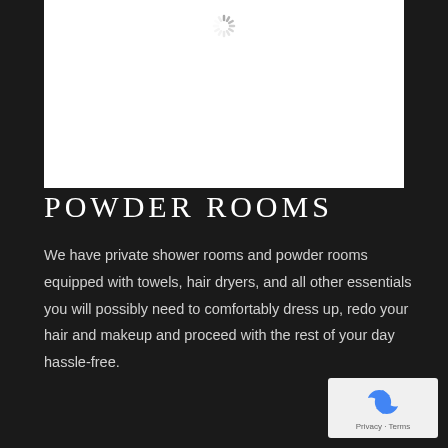[Figure (other): White image placeholder with a loading spinner (circular dashed spinner) at the top center]
POWDER ROOMS
We have private shower rooms and powder rooms equipped with towels, hair dryers, and all other essentials you will possibly need to comfortably dress up, redo your hair and makeup and proceed with the rest of your day hassle-free.
[Figure (other): Google reCAPTCHA badge showing recycling arrows logo with Privacy and Terms links]